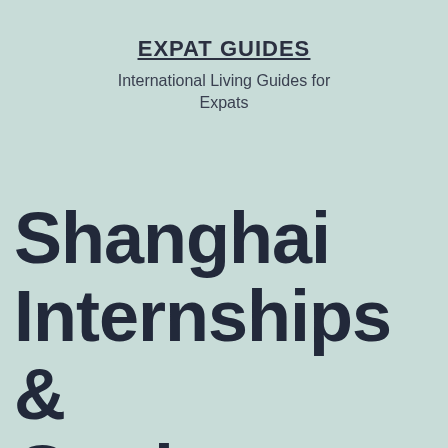EXPAT GUIDES
International Living Guides for Expats
Shanghai Internships & Getting a Internship in